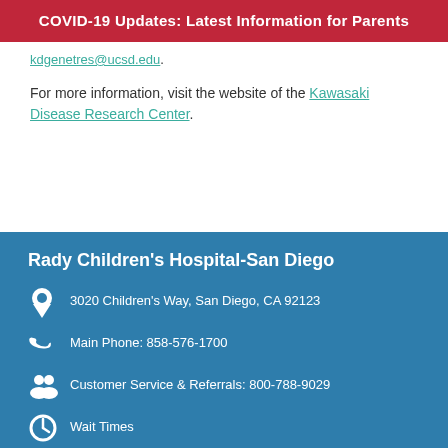COVID-19 Updates: Latest Information for Parents
kdgenetres@ucsd.edu.
For more information, visit the website of the Kawasaki Disease Research Center.
Rady Children's Hospital-San Diego
3020 Children's Way, San Diego, CA 92123
Main Phone: 858-576-1700
Customer Service & Referrals: 800-788-9029
Wait Times